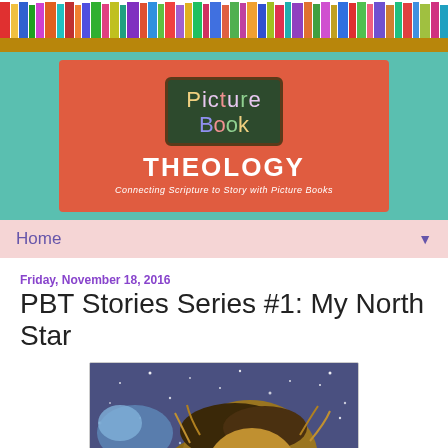[Figure (photo): Bookshelf header with colorful book spines]
[Figure (photo): Picture Book Theology blog logo banner on teal/salmon background with chalkboard sign reading 'Picture Book THEOLOGY - Connecting Scripture to Story with Picture Books']
Home ▼
Friday, November 18, 2016
PBT Stories Series #1: My North Star
[Figure (photo): Book cover illustration showing a shaggy dog (long-haired, golden-brown and black) looking up against a starry blue/purple night sky background with snow or stars]